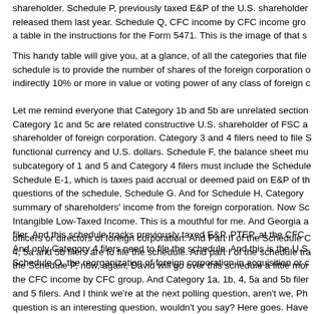shareholder. Schedule P, previously taxed E&P of the U.S. shareholder released them last year. Schedule Q, CFC income by CFC income gro a table in the instructions for the Form 5471. This is the image of that s
This handy table will give you, at a glance, of all the categories that file schedule is to provide the number of shares of the foreign corporation indirectly 10% or more in value or voting power of any class of foreign c
Let me remind everyone that Category 1b and 5b are unrelated section Category 1c and 5c are related constructive U.S. shareholder of FSC a shareholder of foreign corporation. Category 3 and 4 filers need to file S functional currency and U.S. dollars. Schedule F, the balance sheet mu subcategory of 1 and 5 and Category 4 filers must include the Schedule Schedule E-1, which is taxes paid accrual or deemed paid on E&P of th questions of the schedule, Schedule G. And for Schedule H, Category summary of shareholders' income from the foreign corporation. Now Sc Intangible Low-Taxed Income. This is a mouthful for me. And Georgia a filer. And this schedule tracks previously taxed E&P, PTEP, at the CFC And only Category 4 filers need to file the schedule. And this is the U.S Schedule O, the reorganization of foreign corporation in acquisition or c
officers or directors of foreign corporation. And Part II of the Schedule C 4, 5a and 5b filers are to file the schedule. And part I of the schedule tra the Schedule P, now, again, David will go over this schedule a little mor the CFC income by CFC group. And Category 1a, 1b, 4, 5a and 5b filer and 5 filers. And I think we're at the next polling question, aren't we, Ph question is an interesting question, wouldn't you say? Here goes. Have but the form is more complicated now; C, not really; or, D, I'm not involv indirectly that that describes her experience with the F